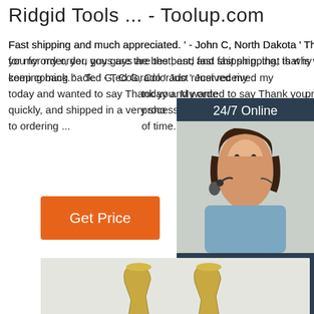Ridgid Tools ... - Toolup.com
Fast shipping and much appreciated. ' - John C, North Dakota ' Thank you for my order, you guys are the best, and fast shipping, that is why I keep coming back. ' - Ted G, Colorado ' Just received my order today and wanted to say Thank you. My order was processed quickly, and shipped in a very short amount of time. I look forward to ordering ...
[Figure (other): Orange 'Get Price' button]
[Figure (other): Live chat widget with '24/7 Online' header, photo of female customer service representative with headset, 'Click here for free chat!' text, and orange QUOTATION button]
[Figure (photo): Product image showing two gold/brass trumpet-shaped items against a light background]